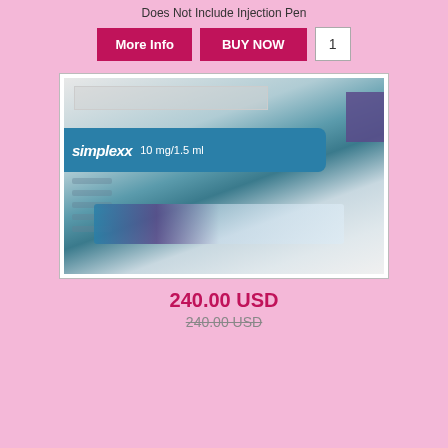Does Not Include Injection Pen
[Figure (photo): Blurry close-up photo of a Norditropin Simplexx 10mg/1.5ml injection cartridge in clear plastic packaging, showing the blue label and syringe/cartridge inside]
240.00 USD
240.00 USD (strikethrough)